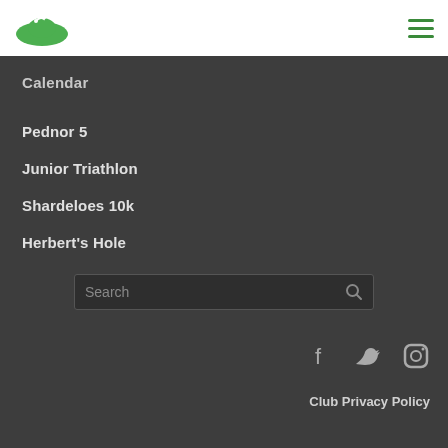[Figure (logo): Green oval logo with a bird/swimmer silhouette and green hills]
Calendar
Pednor 5
Junior Triathlon
Shardeloes 10k
Herbert's Hole
Search
Club Privacy Policy